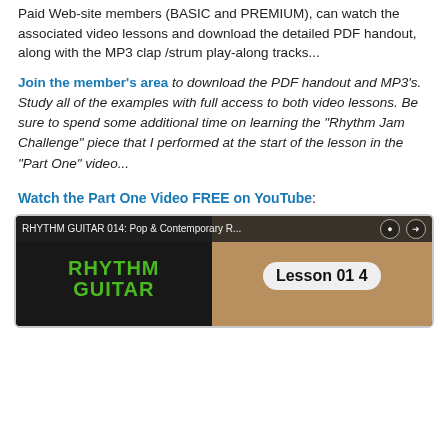Paid Web-site members (BASIC and PREMIUM), can watch the associated video lessons and download the detailed PDF handout, along with the MP3 clap/strum play-along tracks...
Join the member's area to download the PDF handout and MP3's. Study all of the examples with full access to both video lessons. Be sure to spend some additional time on learning the "Rhythm Jam Challenge" piece that I performed at the start of the lesson in the "Part One" video...
Watch the Part One Video FREE on YouTube:
[Figure (screenshot): YouTube video thumbnail for RHYTHM GUITAR 014: Pop & Contemporary R... showing green text 'RHYTHM GUITAR' on dark background on left, and 'Lesson 014' badge on brown/tan background on right, with a top bar showing video title and icons.]